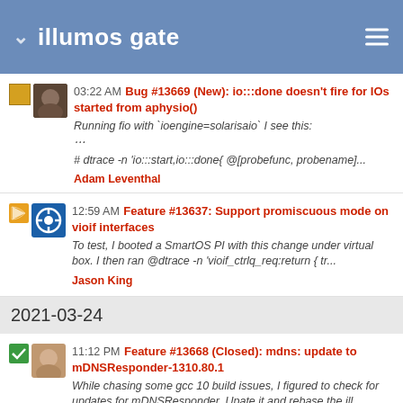illumos gate
03:22 AM Bug #13669 (New): io:::done doesn't fire for IOs started from aphysio()
Running fio with `ioengine=solarisaio` I see this:
...
# dtrace -n 'io:::start,io:::done{ @[probefunc, probename]...
Adam Leventhal
12:59 AM Feature #13637: Support promiscuous mode on vioif interfaces
To test, I booted a SmartOS PI with this change under virtual box. I then ran @dtrace -n 'vioif_ctrlq_req:return { tr...
Jason King
2021-03-24
11:12 PM Feature #13668 (Closed): mdns: update to mDNSResponder-1310.80.1
While chasing some gcc 10 build issues, I figured to check for updates for mDNSResponder. Upate it and rebase the ill...